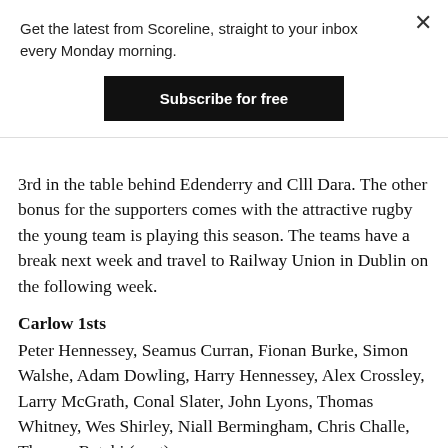Get the latest from Scoreline, straight to your inbox every Monday morning.
Subscribe for free
3rd in the table behind Edenderry and Clll Dara. The other bonus for the supporters comes with the attractive rugby the young team is playing this season. The teams have a break next week and travel to Railway Union in Dublin on the following week.
Carlow 1sts
Peter Hennessey, Seamus Curran, Fionan Burke, Simon Walshe, Adam Dowling, Harry Hennessey, Alex Crossley, Larry McGrath, Conal Slater, John Lyons, Thomas Whitney, Wes Shirley, Niall Bermingham, Chris Challe, Thomas Ratahi (capt).